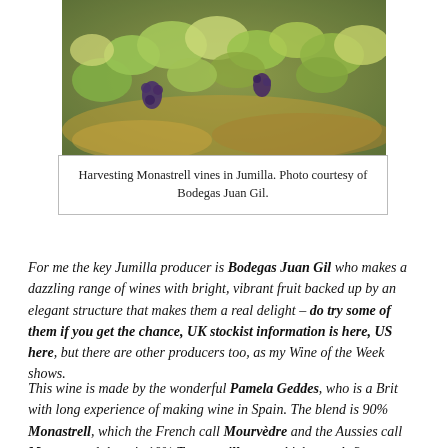[Figure (photo): Photograph of Monastrell vines being harvested in Jumilla, showing green and yellow leaves with bunches of dark grapes among rocky, dry soil in bright sunlight.]
Harvesting Monastrell vines in Jumilla. Photo courtesy of Bodegas Juan Gil.
For me the key Jumilla producer is Bodegas Juan Gil who makes a dazzling range of wines with bright, vibrant fruit backed up by an elegant structure that makes them a real delight – do try some of them if you get the chance, UK stockist information is here, US here, but there are other producers too, as my Wine of the Week shows.
This wine is made by the wonderful Pamela Geddes, who is a Brit with long experience of making wine in Spain. The blend is 90% Monastrell, which the French call Mourvèdre and the Aussies call Mataro, and there is 10% Tempranillo too, which spends 3